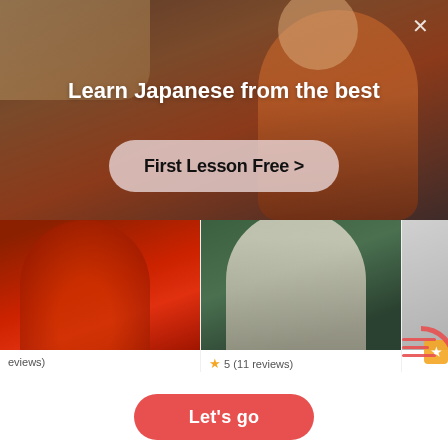[Figure (screenshot): Hero banner with blurred background image of a person, dark warm-toned overlay]
Learn Japanese from the best
First Lesson Free >
[Figure (photo): Tutor card 1: man in red jacket seated indoors, truncated name ending in 'k', partial review count ending in 'eviews)', gift badge '1st class free!']
[Figure (photo): Tutor card 2: woman in white trench coat outdoors, name Kapila, ★5 (11 reviews), ₹600/h, 1st class free!]
eviews)
k
🎁 1st class free!
★ 5 (11 reviews)
Kapila
₹600/h  🎁 1st class free!
Let's go